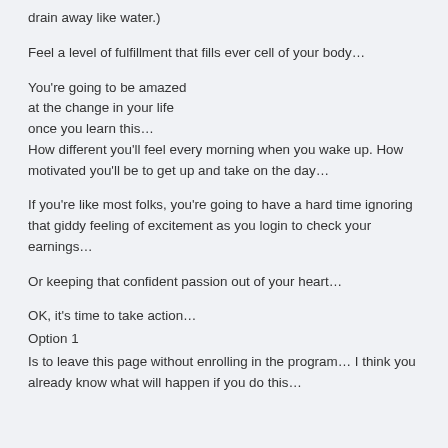drain away like water.)
Feel a level of fulfillment that fills ever cell of your body…
You're going to be amazed
at the change in your life
once you learn this…
How different you'll feel every morning when you wake up. How motivated you'll be to get up and take on the day…
If you're like most folks, you're going to have a hard time ignoring that giddy feeling of excitement as you login to check your earnings…
Or keeping that confident passion out of your heart…
OK, it's time to take action…
Option 1
Is to leave this page without enrolling in the program… I think you already know what will happen if you do this…